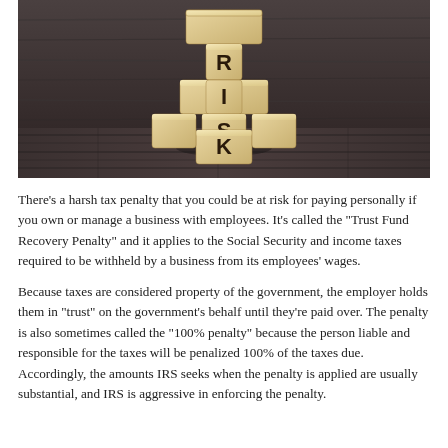[Figure (photo): Wooden letter blocks stacked to spell RISK vertically, arranged in a cross/plus pattern on a dark wooden surface against a dark wood background.]
There’s a harsh tax penalty that you could be at risk for paying personally if you own or manage a business with employees. It’s called the “Trust Fund Recovery Penalty” and it applies to the Social Security and income taxes required to be withheld by a business from its employees’ wages.
Because taxes are considered property of the government, the employer holds them in “trust” on the government’s behalf until they’re paid over. The penalty is also sometimes called the “100% penalty” because the person liable and responsible for the taxes will be penalized 100% of the taxes due. Accordingly, the amounts IRS seeks when the penalty is applied are usually substantial, and IRS is aggressive in enforcing the penalty.